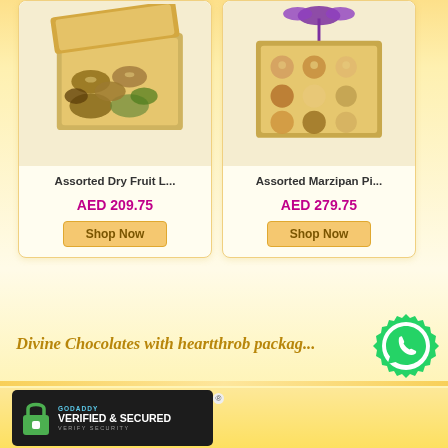[Figure (photo): Product card showing Assorted Dry Fruit L... in a gold open box, priced at AED 209.75 with Shop Now button]
[Figure (photo): Product card showing Assorted Marzipan Pi... in a gold box with purple ribbon, priced at AED 279.75 with Shop Now button]
Divine Chocolates with heartthrob packag...
[Figure (logo): WhatsApp green circular icon with phone logo]
[Figure (logo): GoDaddy Verified & Secured badge with lock icon and Verify Security text]